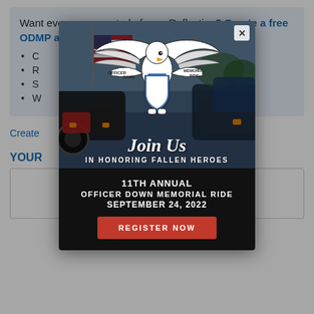Want even more control of your Reflection? Create a free ODMP account now for these benefits:
C...
R...
S...
W... t in the p...
Create ... n to leave a...
YOUR...
[Figure (infographic): Modal popup for the 11th Annual Officer Down Memorial Ride, September 24, 2022. Shows motorcycle riders with US flag in background, Officer Down Memorial Ride eagle logo, 'Join Us In Honoring Fallen Heroes' text, and a red Register Now button. Has an X close button in top right corner.]